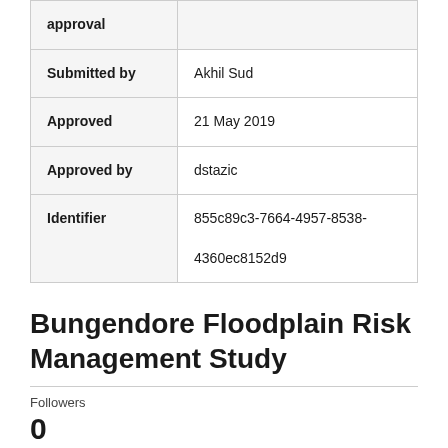| approval |  |
| Submitted by | Akhil Sud |
| Approved | 21 May 2019 |
| Approved by | dstazic |
| Identifier | 855c89c3-7664-4957-8538-4360ec8152d9 |
Bungendore Floodplain Risk Management Study
Followers
0